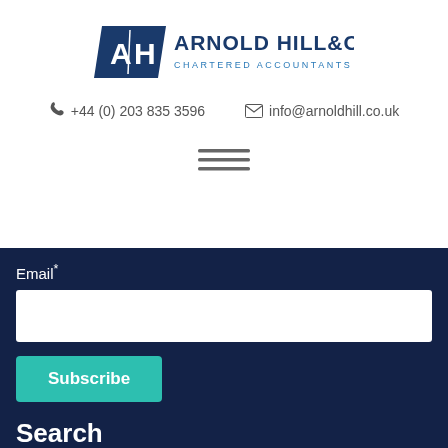[Figure (logo): Arnold Hill & Co LLP Chartered Accountants logo with blue parallelogram AH monogram and company name]
☎ +44 (0) 203 835 3596     ✉ info@arnoldhill.co.uk
[Figure (other): Hamburger menu icon with three horizontal lines]
Email*
Subscribe
Search